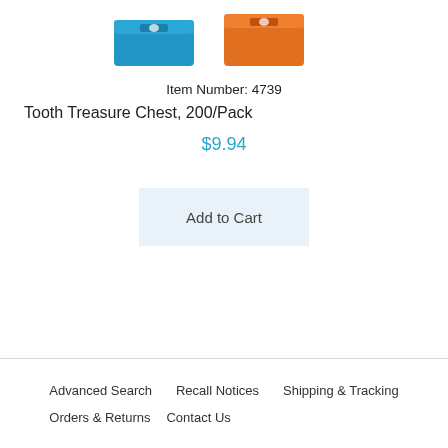[Figure (illustration): Two small tooth treasure chests — one blue and one orange — shown side by side.]
Item Number: 4739
Tooth Treasure Chest, 200/Pack
$9.94
Add to Cart
Advanced Search   Recall Notices   Shipping & Tracking   Orders & Returns   Contact Us